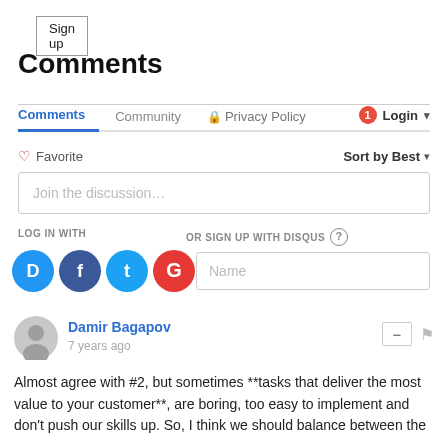Sign up
Comments
Comments   Community   🔒 Privacy Policy   1  Login ▾
♡ Favorite   Sort by Best ▾
Join the discussion…
LOG IN WITH
OR SIGN UP WITH DISQUS ?
[Figure (logo): Disqus, Facebook, Twitter, Google social login icons]
Name
Damir Bagapov
7 years ago
Almost agree with #2, but sometimes **tasks that deliver the most value to your customer**, are boring, too easy to implement and don't push our skills up. So, I think we should balance between the